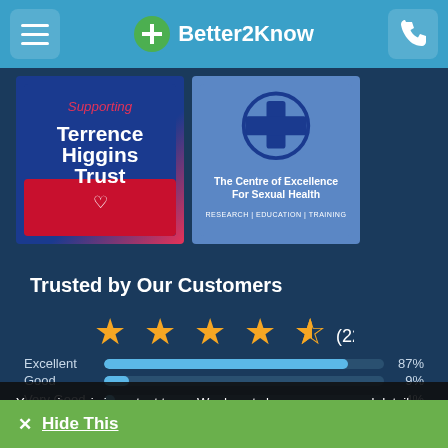Better2Know
[Figure (logo): Supporting Terrence Higgins Trust logo - blue background with pink/red accent]
[Figure (logo): The Centre of Excellence For Sexual Health logo - blue background with cross icon]
Trusted by Our Customers
[Figure (other): 4.5 star rating with 2293 reviews]
| Rating | Bar | Percentage |
| --- | --- | --- |
| Excellent |  | 87% |
| Good |  | 9% |
| Very Good |  | 4% |
| Bad |  | 1% |
| Poor |  | 2% |
Your privacy is important to us. We do not share your personal details with any third parties. We do allow our trusted partners to collect anonymous aggregated data to understand how our website is being used. By browsing our site with cookies enabled, you are agreeing to their use. You can learn about our Cookie Policy here.
✕ Hide This